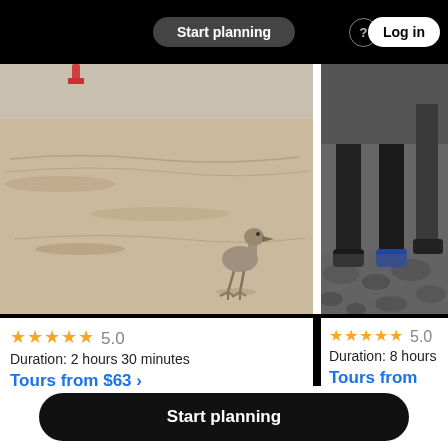Start planning  es & activities  Log in
[Figure (photo): Beach scene with a small bird (chick) walking on sand]
[Figure (photo): Rocky terrain with people's legs visible, hiking/touring]
★★★★★ 5.0
Duration: 2 hours 30 minutes
Tours from $63 ›
★★★★★ 5.0
Duration: 8 hours
Tours from $39
Discover activities & attractions
Start planning